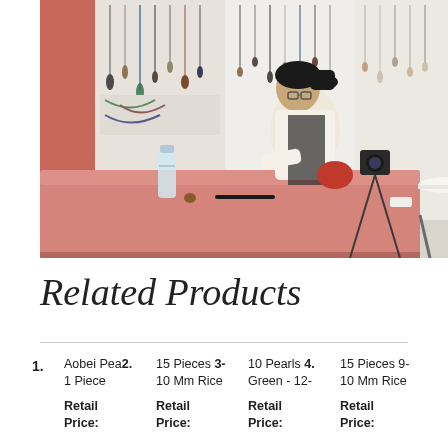[Figure (photo): A person sitting at a pink table in a jewelry trade show booth, working on something. Behind them, walls and boards display many necklaces, beads, and jewelry items. A water bottle is on the table.]
Related Products
1. Aobei Pea2. 1 Piece | 15 Pieces 3- 10 Mm Rice | 10 Pearls 4. Green - 12- | 15 Pieces 9- 10 Mm Rice | Retail Price: | Retail Price: | Retail Price: | Retail Price: